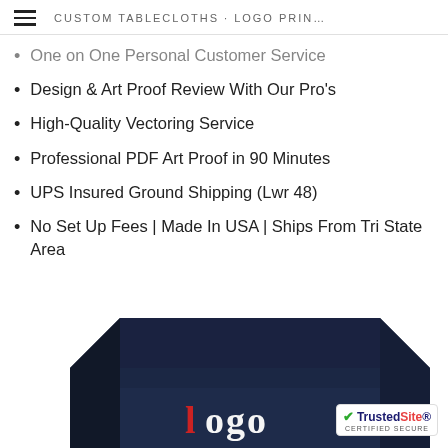CUSTOM TABLECLOTHS · LOGO PRIN…
One on One Personal Customer Service
Design & Art Proof Review With Our Pro's
High-Quality Vectoring Service
Professional PDF Art Proof in 90 Minutes
UPS Insured Ground Shipping (Lwr 48)
No Set Up Fees | Made In USA | Ships From Tri State Area
Questions Call or Text 833 420 5646 8.30 am-8.00 pm EST Mon-Fri
[Figure (photo): Navy blue custom tablecloth draped over a table with a logo, partially visible at the bottom of the page. A TrustedSite Certified Secure badge is overlaid in the bottom right corner.]